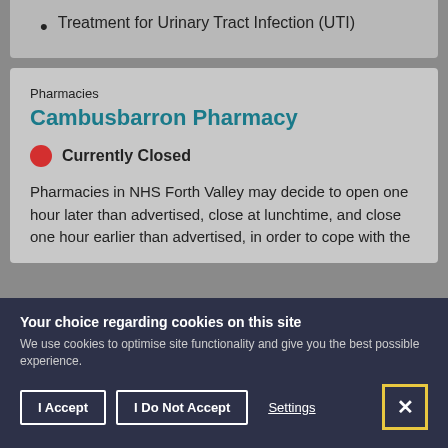Treatment for Urinary Tract Infection (UTI)
Pharmacies
Cambusbarron Pharmacy
Currently Closed
Pharmacies in NHS Forth Valley may decide to open one hour later than advertised, close at lunchtime, and close one hour earlier than advertised, in order to cope with the
Your choice regarding cookies on this site
We use cookies to optimise site functionality and give you the best possible experience.
I Accept
I Do Not Accept
Settings